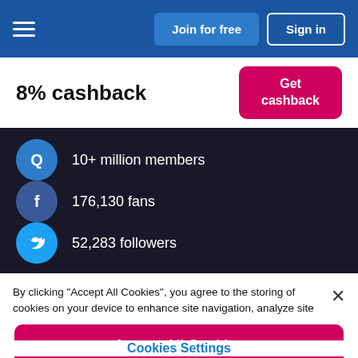Join for free | Sign in
8% cashback
Get cashback
10+ million members
176,130 fans
52,283 followers
By clicking "Accept All Cookies", you agree to the storing of cookies on your device to enhance site navigation, analyze site usage, and assist in our marketing efforts. Cookie Policy
Accept All Cookies
Cookies Settings